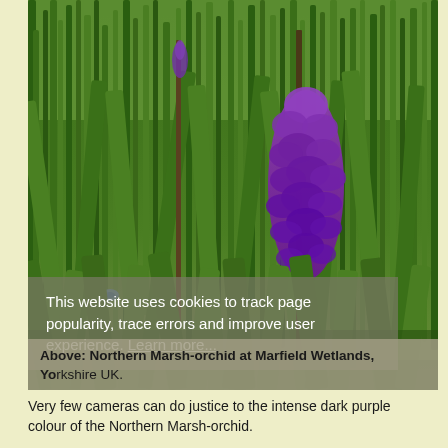[Figure (photo): Photograph of a Northern Marsh-orchid plant with intense purple flower spike growing among green grass and vegetation at Marfield Wetlands, Yorkshire UK. A cookie consent overlay banner is visible in the lower portion of the image reading: 'This website uses cookies to track page popularity, trace errors and improve user experience. Learn more...']
Above: Northern Marsh-orchid at Marfield Wetlands, Yorkshire UK.
Very few cameras can do justice to the intense dark purple colour of the Northern Marsh-orchid.